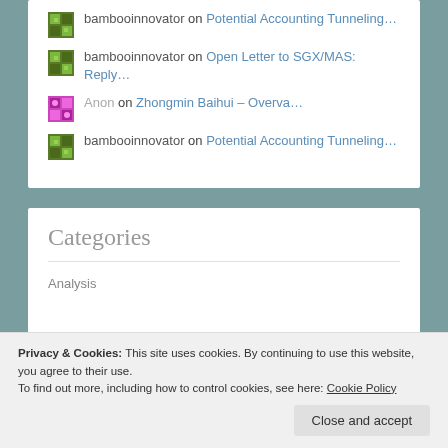bambooinnovator on Potential Accounting Tunneling…
bambooinnovator on Open Letter to SGX/MAS: Reply…
Anon on Zhongmin Baihui – Overva…
bambooinnovator on Potential Accounting Tunneling…
Categories
Analysis
Privacy & Cookies: This site uses cookies. By continuing to use this website, you agree to their use.
To find out more, including how to control cookies, see here: Cookie Policy